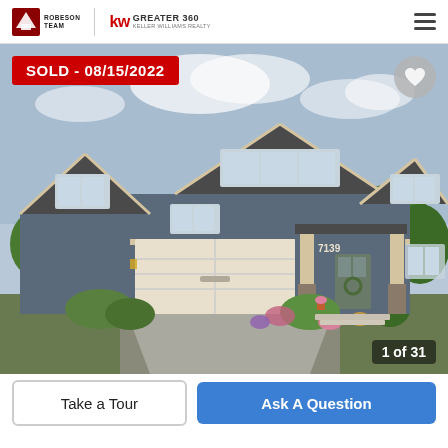Robeson Team | KW Greater 360 Keller Williams Realty
[Figure (photo): Exterior photo of a two-story craftsman-style house with blue-gray siding, white garage door, covered front porch with stone columns, and landscaped front yard with shrubs and flowers. SOLD - 08/15/2022 badge overlaid top-left. Heart icon top-right. Photo counter '1 of 31' bottom-right.]
SOLD - 08/15/2022
1 of 31
Take a Tour
Ask A Question